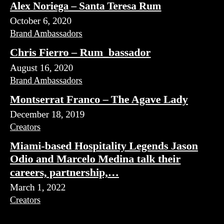Alex Noriega – Santa Teresa Rum
October 6, 2020
Brand Ambassadors
Chris Fierro – Rum_bassador
August 16, 2020
Brand Ambassadors
Montserrat Franco – The Agave Lady
December 18, 2019
Creators
Miami-based Hospitality Legends Jason Odio and Marcelo Medina talk their careers, partnership,…
March 1, 2022
Creators